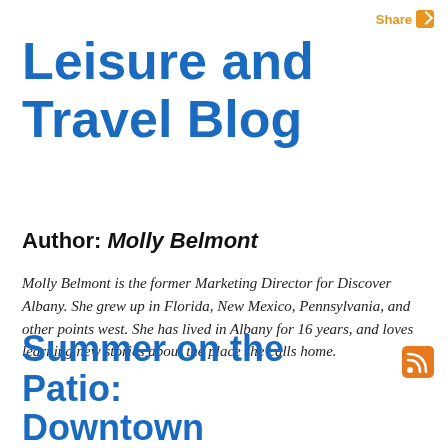Share
Leisure and Travel Blog
Author: Molly Belmont
Molly Belmont is the former Marketing Director for Discover Albany. She grew up in Florida, New Mexico, Pennsylvania, and other points west. She has lived in Albany for 16 years, and loves learning new stories about the place she calls home.
Summer on the Patio: Downtown